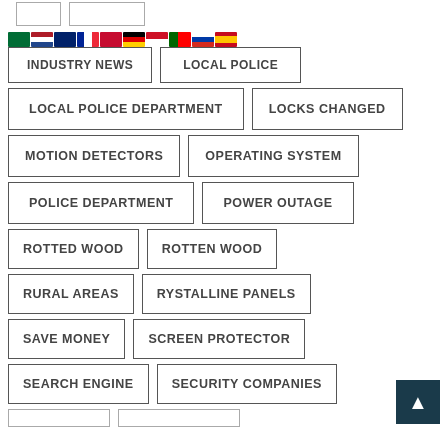INDUSTRY NEWS
LOCAL POLICE
LOCAL POLICE DEPARTMENT
LOCKS CHANGED
MOTION DETECTORS
OPERATING SYSTEM
POLICE DEPARTMENT
POWER OUTAGE
ROTTED WOOD
ROTTEN WOOD
RURAL AREAS
RYSTALLINE PANELS
SAVE MONEY
SCREEN PROTECTOR
SEARCH ENGINE
SECURITY COMPANIES